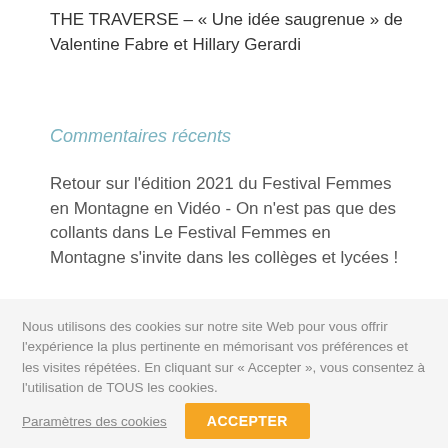THE TRAVERSE – « Une idée saugrenue » de Valentine Fabre et Hillary Gerardi
Commentaires récents
Retour sur l'édition 2021 du Festival Femmes en Montagne en Vidéo - On n'est pas que des collants dans Le Festival Femmes en Montagne s'invite dans les collèges et lycées !
Nous utilisons des cookies sur notre site Web pour vous offrir l'expérience la plus pertinente en mémorisant vos préférences et les visites répétées. En cliquant sur « Accepter », vous consentez à l'utilisation de TOUS les cookies.
Paramètres des cookies
ACCEPTER